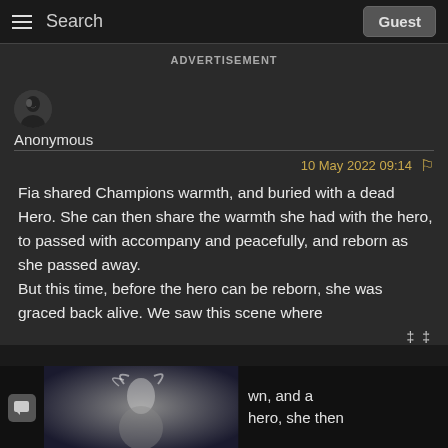Search | Guest
ADVERTISEMENT
Anonymous
10 May 2022 09:14
Fia shared Champions warmth, and buried with a dead Hero. She can then share the warmth she had with the hero, to passed with accompany and peacefully, and reborn as she passed away. But this time, before the hero can be reborn, she was graced back alive. We saw this scene where
wn, and a gr... hero, she then